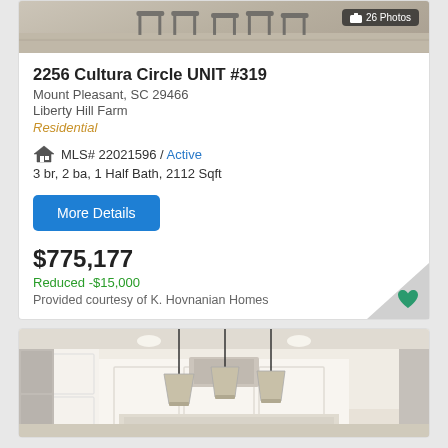[Figure (photo): Interior photo of a room with hardwood floors and chair silhouettes, partially visible at top of page with 26 Photos badge]
2256 Cultura Circle UNIT #319
Mount Pleasant, SC 29466
Liberty Hill Farm
Residential
MLS# 22021596 / Active
3 br, 2 ba, 1 Half Bath, 2112 Sqft
More Details
$775,177
Reduced -$15,000
Provided courtesy of K. Hovnanian Homes
[Figure (photo): Interior kitchen photo showing white cabinetry, pendant lights over island, and stainless steel appliances]